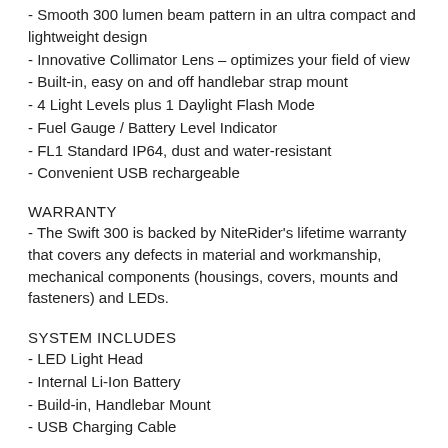- Smooth 300 lumen beam pattern in an ultra compact and lightweight design
- Innovative Collimator Lens – optimizes your field of view
- Built-in, easy on and off handlebar strap mount
- 4 Light Levels plus 1 Daylight Flash Mode
- Fuel Gauge / Battery Level Indicator
- FL1 Standard IP64, dust and water-resistant
- Convenient USB rechargeable
WARRANTY
- The Swift 300 is backed by NiteRider's lifetime warranty that covers any defects in material and workmanship, mechanical components (housings, covers, mounts and fasteners) and LEDs.
SYSTEM INCLUDES
- LED Light Head
- Internal Li-Ion Battery
- Build-in, Handlebar Mount
- USB Charging Cable